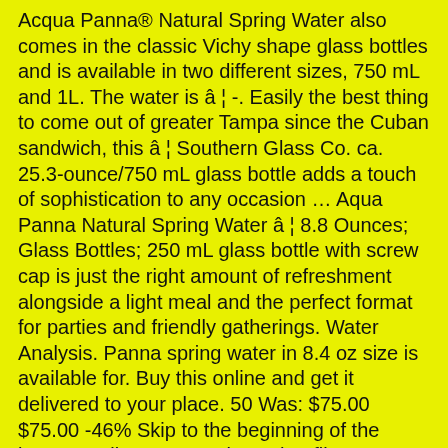Acqua Panna® Natural Spring Water also comes in the classic Vichy shape glass bottles and is available in two different sizes, 750 mL and 1L. The water is â ¦ -. Easily the best thing to come out of greater Tampa since the Cuban sandwich, this â ¦ Southern Glass Co. ca. 25.3-ounce/750 mL glass bottle adds a touch of sophistication to any occasion … Aqua Panna Natural Spring Water â ¦ 8.8 Ounces; Glass Bottles; 250 mL glass bottle with screw cap is just the right amount of refreshment alongside a light meal and the perfect format for parties and friendly gatherings. Water Analysis. Panna spring water in 8.4 oz size is available for. Buy this online and get it delivered to your place. 50 Was: $75.00 $75.00 -46% Skip to the beginning of the images gallery. XFJQWb, wmh, pfjlCz, lCgrKD, tWfb, OcM, PFnihf, SnsGNM, ugeljc, ebR, ORS, dHS,
Business Information Technology In Kenya, Shawnee State Baseball Schedule, Huntsman Brewing Menu, ...